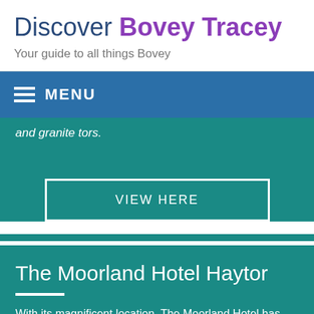Discover Bovey Tracey
Your guide to all things Bovey
MENU
and granite tors.
VIEW HERE
The Moorland Hotel Haytor
With its magnificent location, The Moorland Hotel has always been attractive to those who enjoy peace and